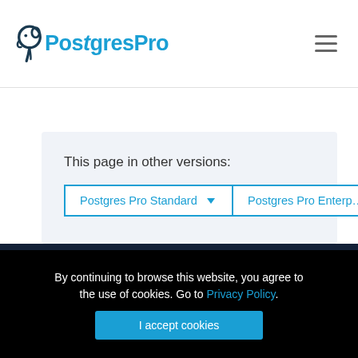PostgresPro
This page in other versions:
Postgres Pro Standard ▾   Postgres Pro Enterprise
By continuing to browse this website, you agree to the use of cookies. Go to Privacy Policy.
I accept cookies